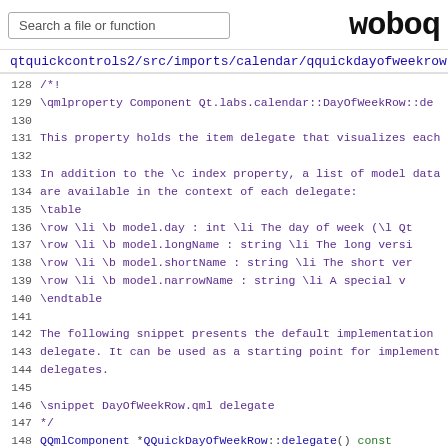Search a file or function | woboq
qtquickcontrols2/src/imports/calendar/qquickdayofweekrow.cpp
128  /*!
129       \qmlproperty Component Qt.labs.calendar::DayOfWeekRow::de
130  
131       This property holds the item delegate that visualizes each
132  
133       In addition to the \c index property, a list of model data
134       are available in the context of each delegate:
135       \table
136            \row \li \b model.day : int \li The day of week (\l Q
137            \row \li \b model.longName : string \li The long vers
138            \row \li \b model.shortName : string \li The short ver
139            \row \li \b model.narrowName : string \li A special v
140       \endtable
141  
142       The following snippet presents the default implementation
143       delegate. It can be used as a starting point for implement
144       delegates.
145  
146       \snippet DayOfWeekRow.qml delegate
147  */
148  QQmlComponent *QQuickDayOfWeekRow::delegate() const
149  {
150       Q_D(const QQuickDayOfWeekRow);
151       return d->delegate;
152  }
153